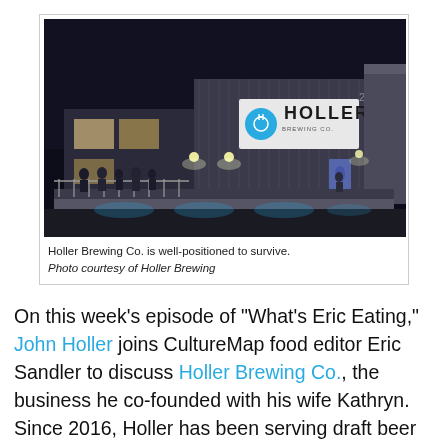[Figure (photo): Nighttime exterior photo of Holler Brewing Co. building with lit signage reading 'HOLLER' and people on an outdoor deck area. The building is illuminated with white lights.]
Holler Brewing Co. is well-positioned to survive. Photo courtesy of Holler Brewing
On this week's episode of "What's Eric Eating," John Holler joins CultureMap food editor Eric Sandler to discuss Holler Brewing Co., the business he co-founded with his wife Kathryn. Since 2016, Holler has been serving draft beer from its taproom in Sawyer Yards, earning fans